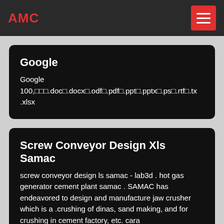AMC
Google
Google 100,□□□.doc□.docx□.odf□.pdf□.ppt□.pptx□.ps□.rtf□.tx .xlsx
Screw Conveyor Design Xls Samac
screw conveyor design ls samac - lab3d . hot gas generator cement plant samac . SAMAC has endeavored to design and manufacture jaw crusher which is a .crushing of dinas, sand making, and for crushing in cement factory, etc. cara